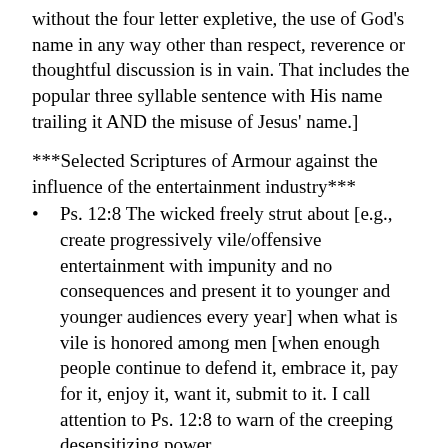without the four letter expletive, the use of God's name in any way other than respect, reverence or thoughtful discussion is in vain. That includes the popular three syllable sentence with His name trailing it AND the misuse of Jesus' name.]
***Selected Scriptures of Armour against the influence of the entertainment industry***
Ps. 12:8 The wicked freely strut about [e.g., create progressively vile/offensive entertainment with impunity and no consequences and present it to younger and younger audiences every year] when what is vile is honored among men [when enough people continue to defend it, embrace it, pay for it, enjoy it, want it, submit to it. I call attention to Ps. 12:8 to warn of the creeping desensitizing power